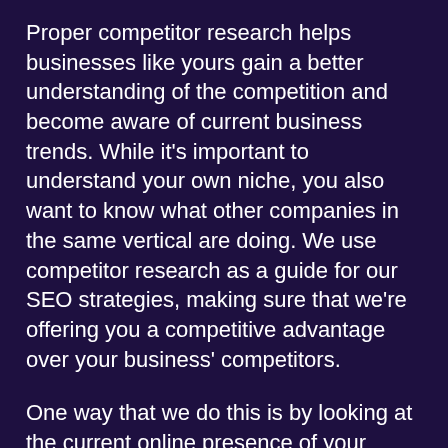Proper competitor research helps businesses like yours gain a better understanding of the competition and become aware of current business trends. While it's important to understand your own niche, you also want to know what other companies in the same vertical are doing. We use competitor research as a guide for our SEO strategies, making sure that we're offering you a competitive advantage over your business' competitors.
One way that we do this is by looking at the current online presence of your closest competitors – we can advise on how to improve the search engine rankings of your site and become the top player in your region.